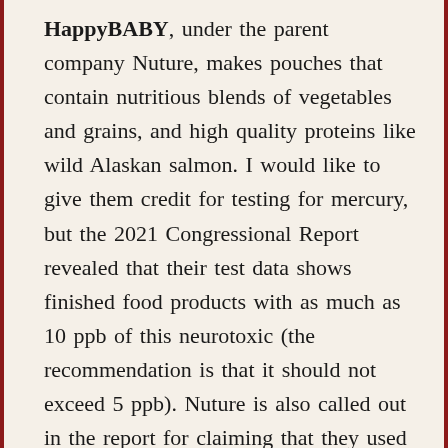HappyBABY, under the parent company Nuture, makes pouches that contain nutritious blends of vegetables and grains, and high quality proteins like wild Alaskan salmon. I would like to give them credit for testing for mercury, but the 2021 Congressional Report revealed that their test data shows finished food products with as much as 10 ppb of this neurotoxic (the recommendation is that it should not exceed 5 ppb). Nuture is also called out in the report for claiming that they used a standard of 50 ppb for lead,